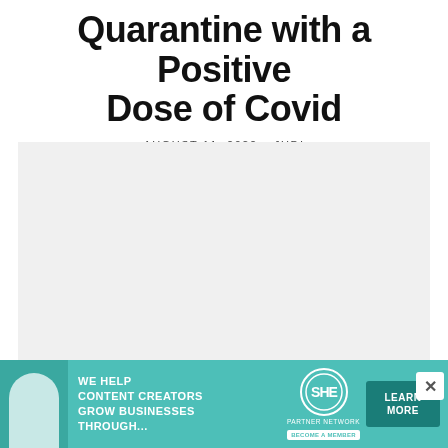Quarantine with a Positive Dose of Covid
AUGUST 11, 2022 · JUDI
[Figure (photo): Large light gray placeholder image area for an article photo]
[Figure (infographic): Advertisement banner: SHE Media Partner Network — 'We Help Content Creators Grow Businesses Through...' with a Learn More button and Become a Member badge]